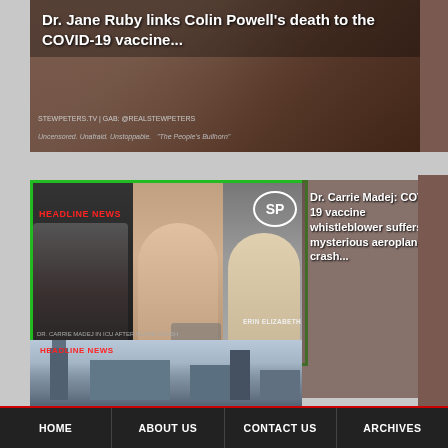[Figure (screenshot): Video thumbnail with brown/dark background showing news broadcast. Text overlay reads 'Dr. Jane Ruby links Colin Powell's death to the COVID-19 vaccine...' with STEWPETERS.TV branding.]
[Figure (screenshot): Video thumbnail with green border showing Stew Peters Show with HEADLINE NEWS label, faces of man and women, airplane image, and text overlays including 'Dr. Carrie Madej: COVID-19 vaccine whistleblower suffers mysterious aeroplane crash...' with 'SPOKEN DISSIDENT DOCTOR HAS EXPOSED COVID JAB DANGER' in red.]
[Figure (screenshot): Partial video thumbnail showing Parliament buildings with HEADLINE NEWS label in red.]
HOME   ABOUT US   CONTACT US   ARCHIVES